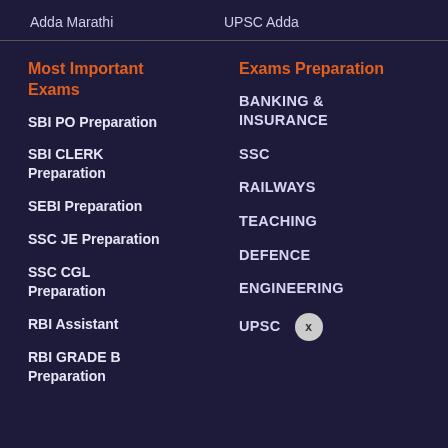Adda Marathi   UPSC Adda
Most Important Exams
SBI PO Preparation
SBI CLERK Preparation
SEBI Preparation
SSC JE Preparation
SSC CGL Preparation
RBI Assistant
RBI GRADE B Preparation
Exams Preparation
BANKING & INSURANCE
SSC
RAILWAYS
TEACHING
DEFENCE
ENGINEERING
UPSC